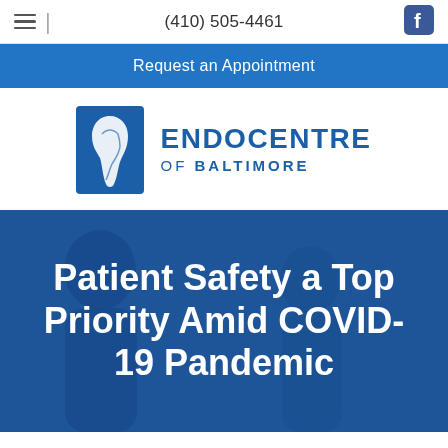(410) 505-4461
Request an Appointment
[Figure (logo): Endocentre of Baltimore logo with stylized tooth/root icon and blue text reading ENDOCENTRE OF BALTIMORE]
Patient Safety a Top Priority Amid COVID-19 Pandemic